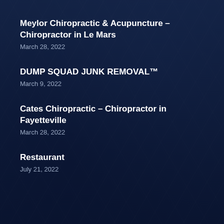Meylor Chiropractic & Acupuncture – Chiropractor in Le Mars
March 28, 2022
DUMP SQUAD JUNK REMOVAL™
March 9, 2022
Cates Chiropractic – Chiropractor in Fayetteville
March 28, 2022
Restaurant
July 21, 2022